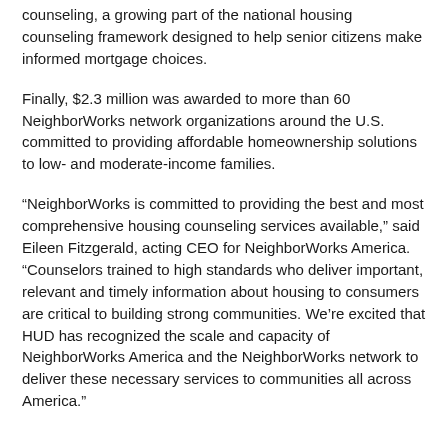counseling, a growing part of the national housing counseling framework designed to help senior citizens make informed mortgage choices.
Finally, $2.3 million was awarded to more than 60 NeighborWorks network organizations around the U.S. committed to providing affordable homeownership solutions to low- and moderate-income families.
“NeighborWorks is committed to providing the best and most comprehensive housing counseling services available,” said Eileen Fitzgerald, acting CEO for NeighborWorks America. “Counselors trained to high standards who deliver important, relevant and timely information about housing to consumers are critical to building strong communities. We’re excited that HUD has recognized the scale and capacity of NeighborWorks America and the NeighborWorks network to deliver these necessary services to communities all across America.”